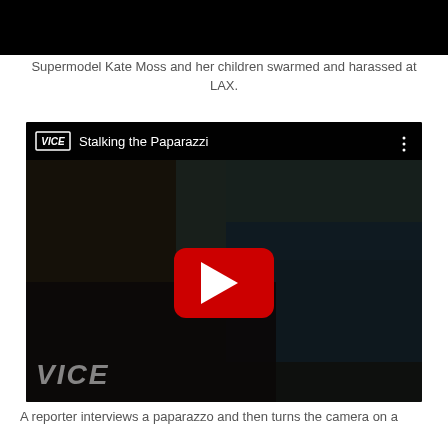[Figure (photo): Black image strip at the top of the page, partial photo cropped]
Supermodel Kate Moss and her children swarmed and harassed at LAX.
[Figure (screenshot): YouTube video embed showing VICE video titled 'Stalking the Paparazzi' with a crowd of paparazzi photographers around a car, with a red YouTube play button in the center and VICE watermark in the lower left.]
A reporter interviews a paparazzo and then turns the camera on a